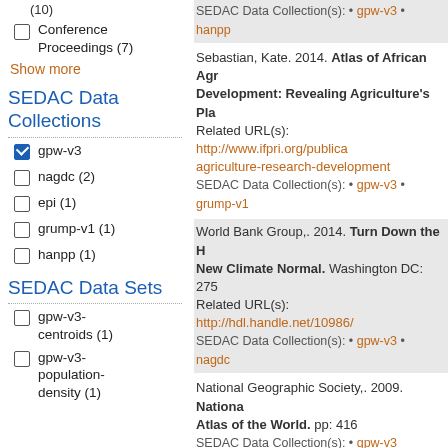(10)
Conference Proceedings (7)
Show more
SEDAC Data Collections
gpw-v3 (checked)
nagdc (2)
epi (1)
grump-v1 (1)
hanpp (1)
SEDAC Data Sets
gpw-v3-centroids (1)
gpw-v3-population-density (1)
SEDAC Data Collection(s): • gpw-v3 • hanpp
Sebastian, Kate. 2014. Atlas of African Agriculture Research & Development: Revealing Agriculture's Place in African Society. Related URL(s): http://www.ifpri.org/publica...agriculture-research-development SEDAC Data Collection(s): • gpw-v3 • grump-v1
World Bank Group,. 2014. Turn Down the Heat: Confronting the New Climate Normal. Washington DC: 275. Related URL(s): http://hdl.handle.net/10986/... SEDAC Data Collection(s): • gpw-v3 • nagdc
National Geographic Society,. 2009. National Geographic Atlas of the World. pp: 416 SEDAC Data Collection(s): • gpw-v3